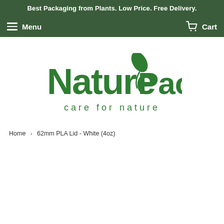Best Packaging from Plants. Low Price. Free Delivery.
Menu  Cart
[Figure (logo): NaturePac logo with green leaf motif and tagline 'care for nature']
Home › 62mm PLA Lid - White (4oz)